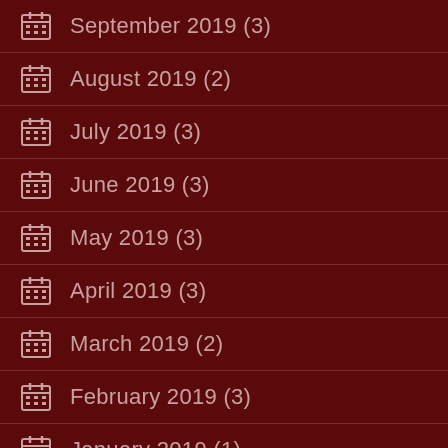September 2019 (3)
August 2019 (2)
July 2019 (3)
June 2019 (3)
May 2019 (3)
April 2019 (3)
March 2019 (2)
February 2019 (3)
January 2019 (1)
December 2018 (3)